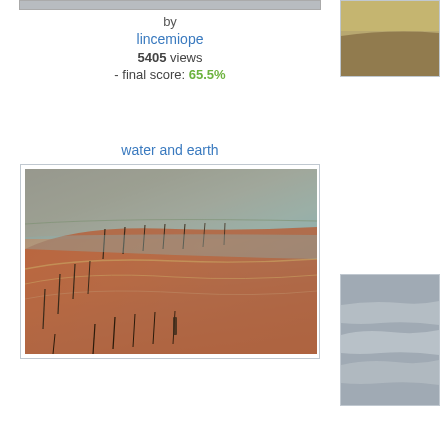[Figure (photo): Partial top photo cropped at top of page, left column]
by
lincemiope
5405 views
- final score: 65.5%
[Figure (photo): Partial photo on right side top, cropped]
water and earth
[Figure (photo): Main photo: water and earth - reservoir shoreline with red clay banks, sparse dead trees/sticks, calm water reflecting landscape]
[Figure (photo): Right side partial photo showing ocean waves on rocky beach, black and white tones]